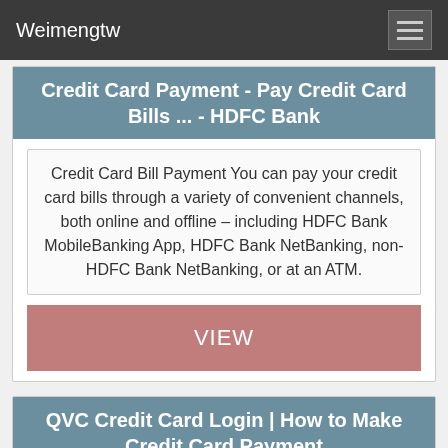Weimengtw
Credit Card Payment - Pay Credit Card Bills ... - HDFC Bank
Credit Card Bill Payment You can pay your credit card bills through a variety of convenient channels, both online and offline – including HDFC Bank MobileBanking App, HDFC Bank NetBanking, non-HDFC Bank NetBanking, or at an ATM.
VIEW
QVC Credit Card Login | How to Make Credit Card Payment